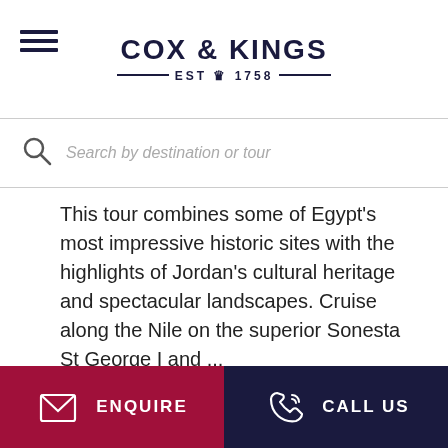[Figure (logo): Cox & Kings logo with EST 1758 tagline and crown symbol]
Search by destination or tour
This tour combines some of Egypt's most impressive historic sites with the highlights of Jordan's cultural heritage and spectacular landscapes. Cruise along the Nile on the superior Sonesta St George I and ...
SUPERIOR PRIVATE
Lead-in price: £3695 pp
Superior private
ENQUIRE   CALL US